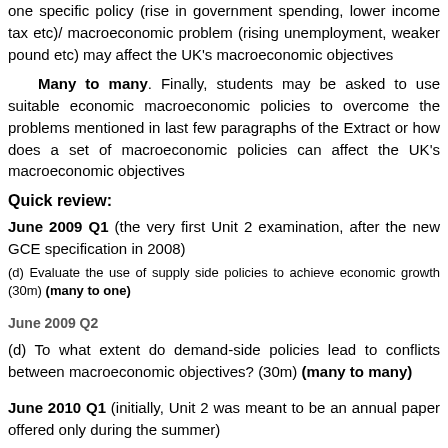one specific policy (rise in government spending, lower income tax etc)/ macroeconomic problem (rising unemployment, weaker pound etc) may affect the UK's macroeconomic objectives
Many to many. Finally, students may be asked to use suitable economic macroeconomic policies to overcome the problems mentioned in last few paragraphs of the Extract or how does a set of macroeconomic policies can affect the UK's macroeconomic objectives
Quick review:
June 2009 Q1 (the very first Unit 2 examination, after the new GCE specification in 2008)
(d) Evaluate the use of supply side policies to achieve economic growth (30m) (many to one)
June 2009 Q2
(d) To what extent do demand-side policies lead to conflicts between macroeconomic objectives? (30m) (many to many)
June 2010 Q1 (initially, Unit 2 was meant to be an annual paper offered only during the summer)